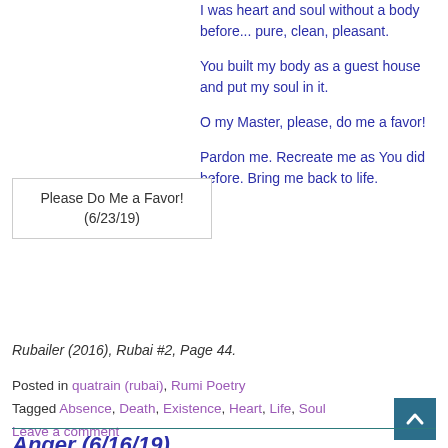I was heart and soul without a body before... pure, clean, pleasant.
You built my body as a guest house and put my soul in it.
O my Master, please, do me a favor!
[Figure (other): Sidebar box with text: Please Do Me a Favor! (6/23/19)]
Pardon me. Recreate me as You did before. Bring me back to life.
Rubailer (2016), Rubai #2, Page 44.
Posted in quatrain (rubai), Rumi Poetry
Tagged Absence, Death, Existence, Heart, Life, Soul
Leave a comment
Anger (6/16/19)